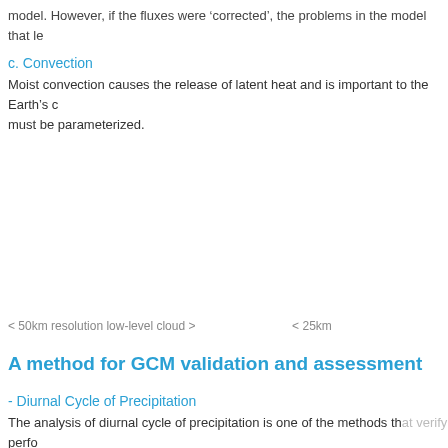model. However, if the fluxes were 'corrected', the problems in the model that le
c. Convection
Moist convection causes the release of latent heat and is important to the Earth's climate system. Convection in climate models must be parameterized.
< 50km resolution low-level cloud >                    < 25km
A method for GCM validation and assessment
- Diurnal Cycle of Precipitation
The analysis of diurnal cycle of precipitation is one of the methods that verify performance of model parameterization of solar and long-wave radiation geographical difference, etc (Dai et al, 1999; Lee et al, ...). The diurnal cycle of precipitation can be evaluated at the surface.